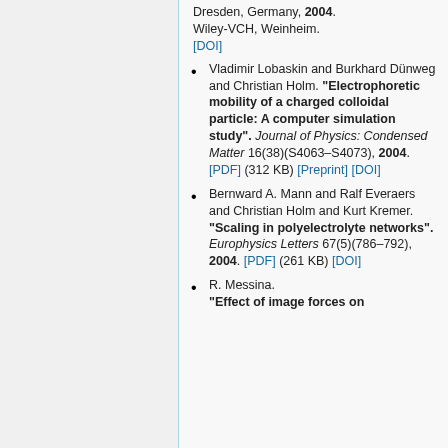Dresden, Germany, 2004. Wiley-VCH, Weinheim. [DOI]
Vladimir Lobaskin and Burkhard Dünweg and Christian Holm. "Electrophoretic mobility of a charged colloidal particle: A computer simulation study". Journal of Physics: Condensed Matter 16(38)(S4063–S4073), 2004. [PDF] (312 KB) [Preprint] [DOI]
Bernward A. Mann and Ralf Everaers and Christian Holm and Kurt Kremer. "Scaling in polyelectrolyte networks". Europhysics Letters 67(5)(786–792), 2004. [PDF] (261 KB) [DOI]
R. Messina. "Effect of image forces on...